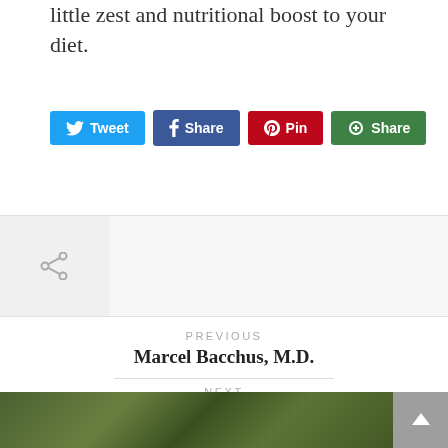little zest and nutritional boost to your diet.
[Figure (infographic): Social share buttons: Tweet (Twitter/blue), Share (Facebook/dark blue), Pin (Pinterest/red), Share (Google+/green)]
[Figure (infographic): Sidebar share icon (grey share symbol) on light grey background strip]
PREVIOUS
Marcel Bacchus, M.D.
NEXT
Gary Menszer, MD
[Figure (photo): Group photo of people outdoors with trees in background]